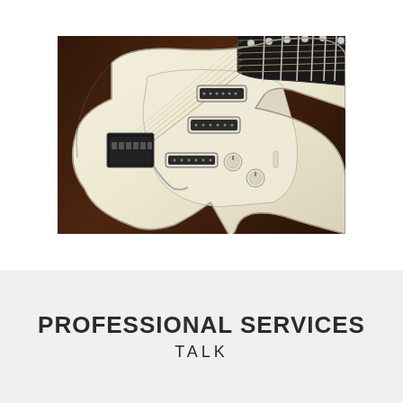[Figure (photo): Close-up photo of a cream/white electric guitar (Stratocaster style) showing the body, pickguard, three pickups, tremolo bridge, volume and tone knobs, and strings, resting on a dark wooden surface.]
PROFESSIONAL SERVICES
TALK